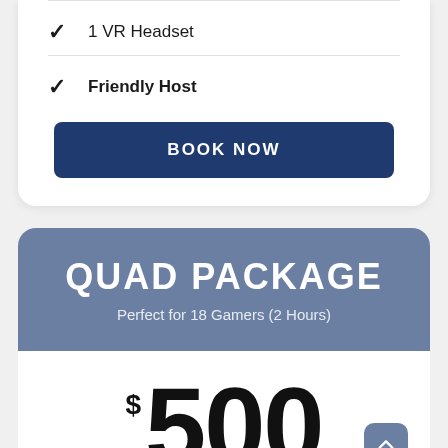1 VR Headset
Friendly Host
BOOK NOW
QUAD PACKAGE
Perfect for 18 Gamers (2 Hours)
$500